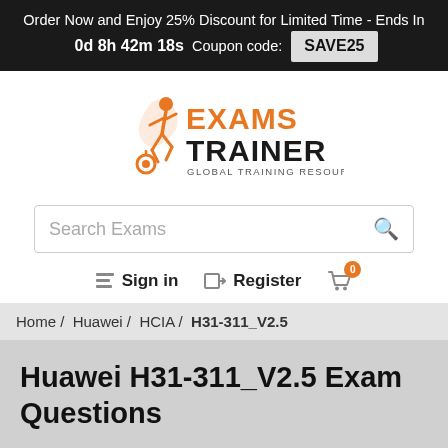Order Now and Enjoy 25% Discount for Limited Time - Ends In 0d 8h 42m 18s Coupon code: SAVE25
[Figure (logo): Exams Trainer logo with orange runner figure and text EXAMS TRAINER GLOBAL TRAINING RESOURCE]
Search Exams
Sign in   Register  0
Home /  Huawei /  HCIA /  H31-311_V2.5
Huawei H31-311_V2.5 Exam Questions